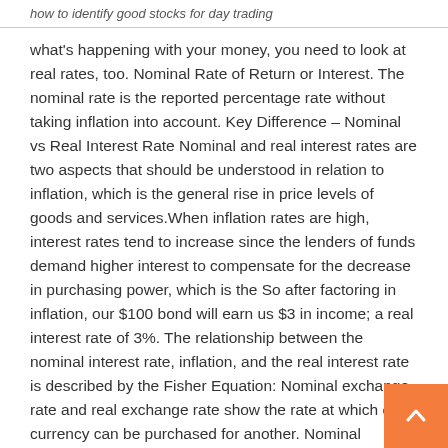how to identify good stocks for day trading
what's happening with your money, you need to look at real rates, too. Nominal Rate of Return or Interest. The nominal rate is the reported percentage rate without taking inflation into account. Key Difference – Nominal vs Real Interest Rate Nominal and real interest rates are two aspects that should be understood in relation to inflation, which is the general rise in price levels of goods and services.When inflation rates are high, interest rates tend to increase since the lenders of funds demand higher interest to compensate for the decrease in purchasing power, which is the So after factoring in inflation, our $100 bond will earn us $3 in income; a real interest rate of 3%. The relationship between the nominal interest rate, inflation, and the real interest rate is described by the Fisher Equation: Nominal exchange rate and real exchange rate show the rate at which one currency can be purchased for another. Nominal exchange rates are the rates that are displayed at banks and money changers. Real exchange rates are a bit more complicated and show how many times an item of goods purchased locally can be purchased abroad.